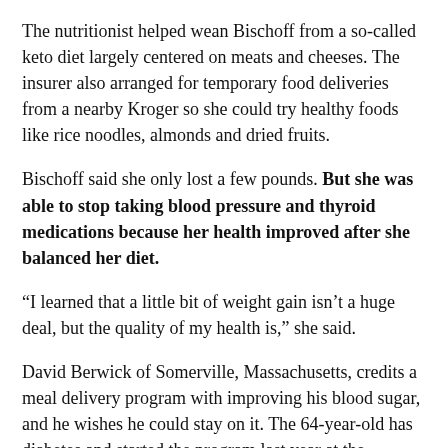The nutritionist helped wean Bischoff from a so-called keto diet largely centered on meats and cheeses. The insurer also arranged for temporary food deliveries from a nearby Kroger so she could try healthy foods like rice noodles, almonds and dried fruits.
Bischoff said she only lost a few pounds. But she was able to stop taking blood pressure and thyroid medications because her health improved after she balanced her diet.
“I learned that a little bit of weight gain isn’t a huge deal, but the quality of my health is,” she said.
David Berwick of Somerville, Massachusetts, credits a meal delivery program with improving his blood sugar, and he wishes he could stay on it. The 64-year-old has diabetes and started the program last year at the suggestion of his doctor. The Medicaid program